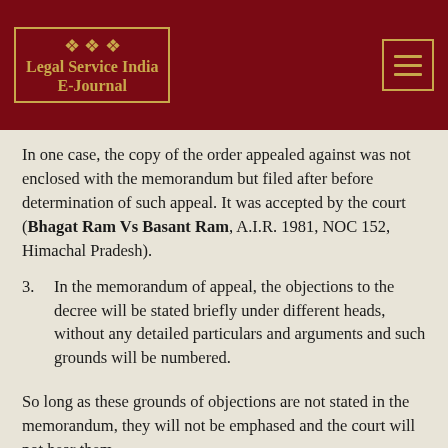[Figure (logo): Legal Service India E-Journal logo with gold border on dark red background, with menu button]
In one case, the copy of the order appealed against was not enclosed with the memorandum but filed after before determination of such appeal. It was accepted by the court (Bhagat Ram Vs Basant Ram, A.I.R. 1981, NOC 152, Himachal Pradesh).
3. In the memorandum of appeal, the objections to the decree will be stated briefly under different heads, without any detailed particulars and arguments and such grounds will be numbered.
So long as these grounds of objections are not stated in the memorandum, they will not be emphased and the court will not hear them.
It depends upon the discretion of the court to consider and hear those grounds which have not been mentioned in the memorandum. But decision will not be made on these grounds till the opportunity